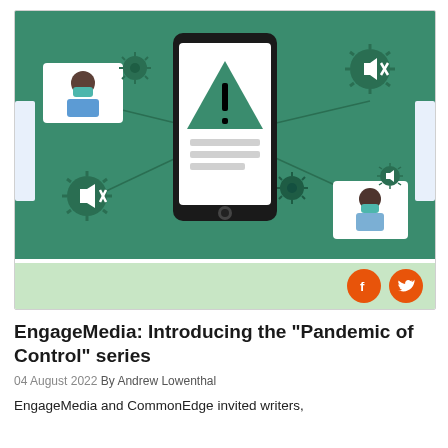[Figure (illustration): Illustrated graphic on green background showing a smartphone with a warning triangle (exclamation mark) on its screen, surrounded by virus/COVID icons and masked video-call participants connected by lines, suggesting COVID-19 misinformation or pandemic-related digital control. Two social share buttons (Facebook and Twitter) appear in a light green bar below the illustration.]
EngageMedia: Introducing the "Pandemic of Control" series
04 August 2022 By Andrew Lowenthal
EngageMedia and CommonEdge invited writers,